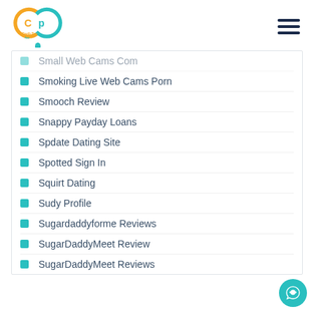Carib Pay App
Small Web Cams Com
Smoking Live Web Cams Porn
Smooch Review
Snappy Payday Loans
Spdate Dating Site
Spotted Sign In
Squirt Dating
Sudy Profile
Sugardaddyforme Reviews
SugarDaddyMeet Review
SugarDaddyMeet Reviews